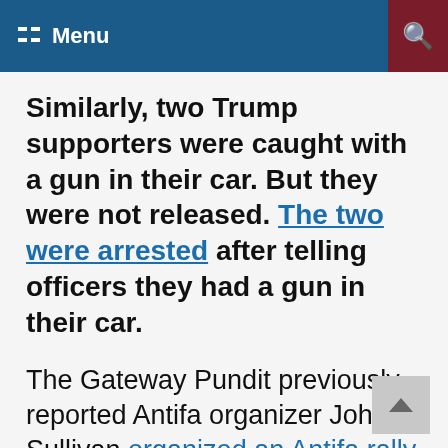Menu
Similarly, two Trump supporters were caught with a gun in their car. But they were not released. The two were arrested after telling officers they had a gun in their car.
The Gateway Pundit previously reported Antifa organizer John Sullivan organized an Antifa rally